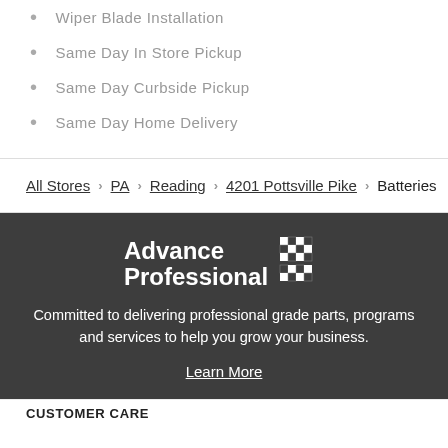Wiper Blade Installation
Same Day In Store Pickup
Same Day Curbside Pickup
Same Day Home Delivery
All Stores > PA > Reading > 4201 Pottsville Pike > Batteries
[Figure (logo): Advance Professional logo with checkered flag pattern and wordmark]
Committed to delivering professional grade parts, programs and services to help you grow your business.
Learn More
CUSTOMER CARE